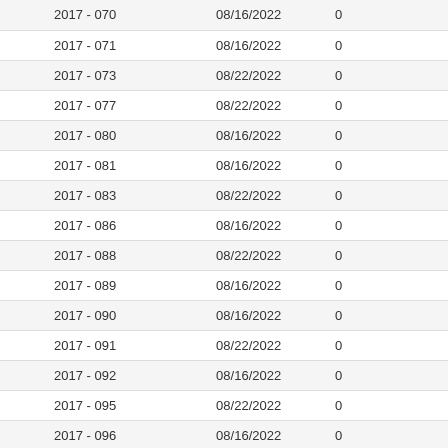| 2017 - 070 | 08/16/2022 | 0 |
| 2017 - 071 | 08/16/2022 | 0 |
| 2017 - 073 | 08/22/2022 | 0 |
| 2017 - 077 | 08/22/2022 | 0 |
| 2017 - 080 | 08/16/2022 | 0 |
| 2017 - 081 | 08/16/2022 | 0 |
| 2017 - 083 | 08/22/2022 | 0 |
| 2017 - 086 | 08/16/2022 | 0 |
| 2017 - 088 | 08/22/2022 | 0 |
| 2017 - 089 | 08/16/2022 | 0 |
| 2017 - 090 | 08/16/2022 | 0 |
| 2017 - 091 | 08/22/2022 | 0 |
| 2017 - 092 | 08/16/2022 | 0 |
| 2017 - 095 | 08/22/2022 | 0 |
| 2017 - 096 | 08/16/2022 | 0 |